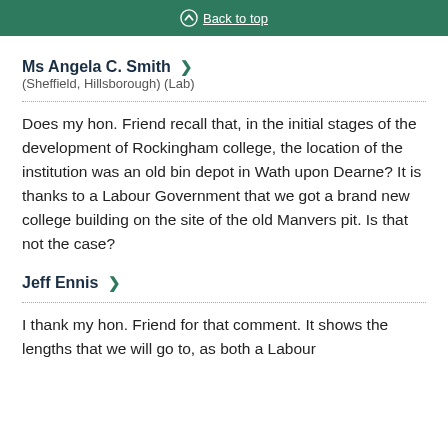Back to top
Ms Angela C. Smith (Sheffield, Hillsborough) (Lab)
Does my hon. Friend recall that, in the initial stages of the development of Rockingham college, the location of the institution was an old bin depot in Wath upon Dearne? It is thanks to a Labour Government that we got a brand new college building on the site of the old Manvers pit. Is that not the case?
Jeff Ennis
I thank my hon. Friend for that comment. It shows the lengths that we will go to, as both a Labour